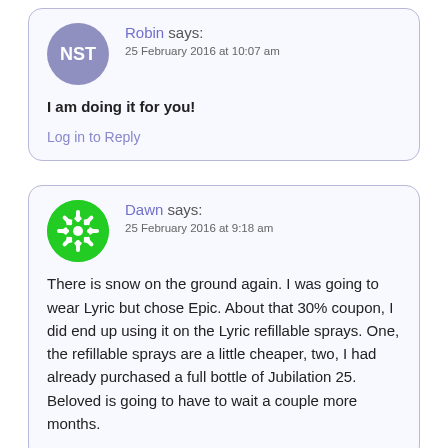Robin says: 25 February 2016 at 10:07 am
I am doing it for you!
Log in to Reply
Dawn says: 25 February 2016 at 9:18 am
There is snow on the ground again. I was going to wear Lyric but chose Epic. About that 30% coupon, I did end up using it on the Lyric refillable sprays. One, the refillable sprays are a little cheaper, two, I had already purchased a full bottle of Jubilation 25. Beloved is going to have to wait a couple more months.